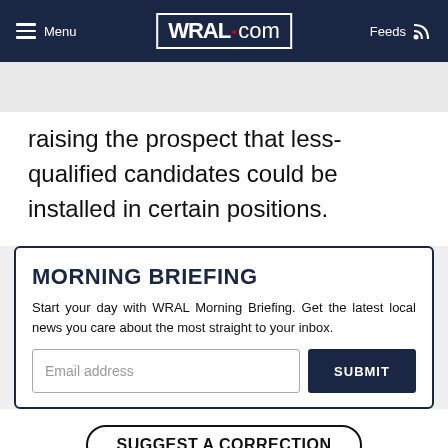Menu | WRAL.com | Feeds
raising the prospect that less-qualified candidates could be installed in certain positions.
MORNING BRIEFING
Start your day with WRAL Morning Briefing. Get the latest local news you care about the most straight to your inbox.
Email address | SUBMIT
SUGGEST A CORRECTION